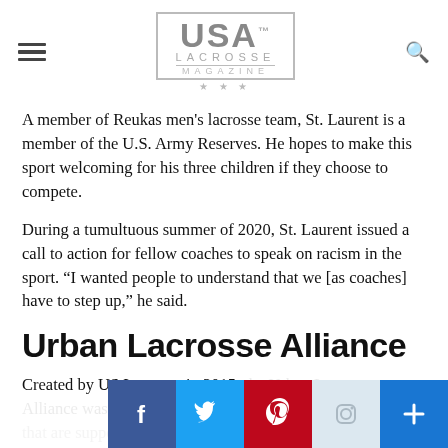USA LACROSSE MAGAZINE
A member of Reukas men's lacrosse team, St. Laurent is a member of the U.S. Army Reserves. He hopes to make this sport welcoming for his three children if they choose to compete.
During a tumultuous summer of 2020, St. Laurent issued a call to action for fellow coaches to speak on racism in the sport. “I wanted people to understand that we [as coaches] have to step up,” he said.
Urban Lacrosse Alliance
Created by US Lacrosse in 2015, the Urban Lacrosse Alliance was created to support local lacrosse organizations...
[Figure (infographic): Social media share buttons: Facebook (blue), Twitter (light blue), Pinterest (dark red), Instagram (light gray), and a plus button (blue)]